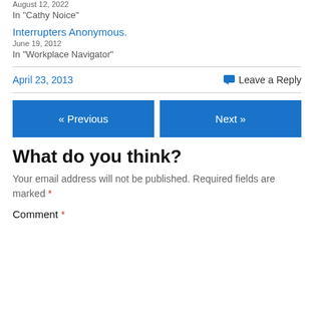August 12, 2022
In "Cathy Noice"
Interrupters Anonymous.
June 19, 2012
In "Workplace Navigator"
April 23, 2013
Leave a Reply
« Previous
Next »
What do you think?
Your email address will not be published. Required fields are marked *
Comment *